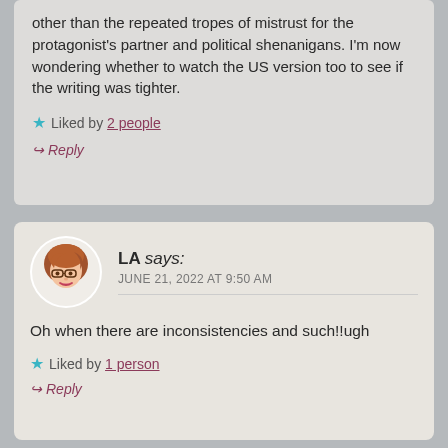other than the repeated tropes of mistrust for the protagonist's partner and political shenanigans. I'm now wondering whether to watch the US version too to see if the writing was tighter.
Liked by 2 people
Reply
LA says: JUNE 21, 2022 AT 9:50 AM
Oh when there are inconsistencies and such!!ugh
Liked by 1 person
Reply